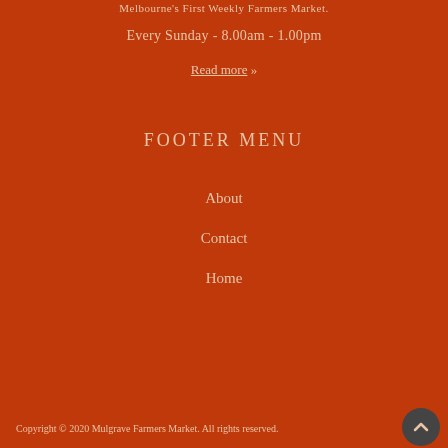Melbourne's First Weekly Farmers Market.
Every Sunday - 8.00am - 1.00pm
Read more »
FOOTER MENU
About
Contact
Home
Copyright © 2020 Mulgrave Farmers Market. All rights reserved.